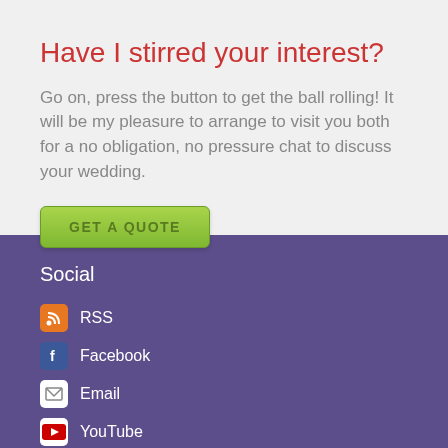Have I stirred your interest?
Go on, press the button to get the ball rolling! It will be my pleasure to arrange to visit you both for a no obligation, no pressure chat to discuss your wedding.
GET A QUOTE
Social
RSS
Facebook
Email
YouTube